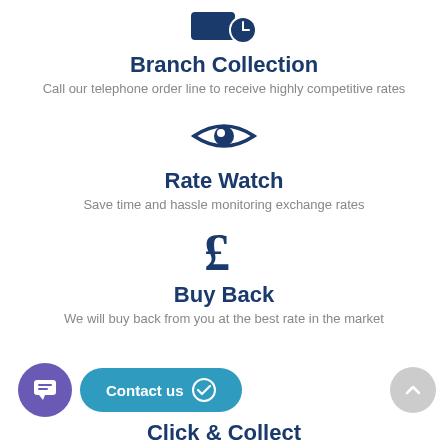[Figure (illustration): Dark navy icon showing a card/key with a clock symbol]
Branch Collection
Call our telephone order line to receive highly competitive rates
[Figure (illustration): Dark navy eye icon]
Rate Watch
Save time and hassle monitoring exchange rates
[Figure (illustration): Dark navy pound sterling (£) currency symbol]
Buy Back
We will buy back from you at the best rate in the market
[Figure (illustration): Purple chat bubble icon, teal Contact us button with checkmark circle, and grey scroll-up arrow button]
Click & Collect